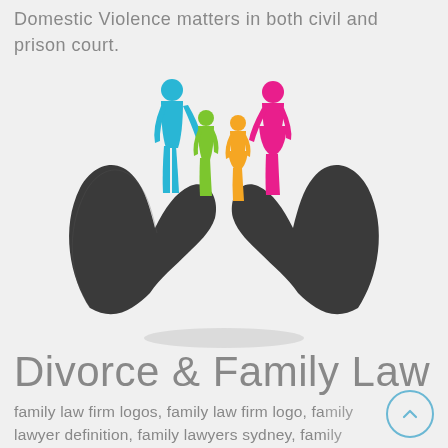Domestic Violence matters in both civil and prison court.
[Figure (illustration): Family law illustration: two dark cupped hands holding a family of four figures (blue adult male, green child, orange child, pink/magenta adult female), forming a protective gesture.]
Divorce & Family Law
family law firm logos, family law firm logo, family lawyer definition, family lawyers sydney, family